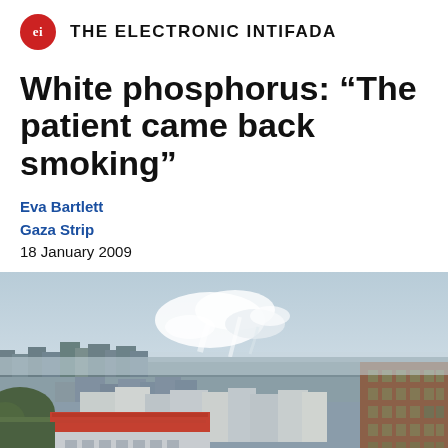ei THE ELECTRONIC INTIFADA
White phosphorus: “The patient came back smoking”
Eva Bartlett
Gaza Strip
18 January 2009
[Figure (photo): Aerial view of Gaza cityscape with white smoke plumes visible in the sky above densely packed buildings; a building with a red tile roof in the foreground and a tall brown building on the right edge.]